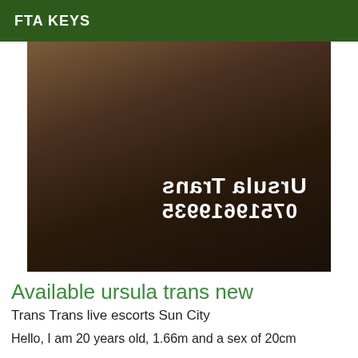FTA KEYS
[Figure (photo): Photo of a person with blonde hair wearing black clothing, posed on a dark surface. Mirrored text overlay reads 'Ursula Trans' and '07519619935']
Available ursula trans new
Trans Trans live escorts Sun City
Hello, I am 20 years old, 1.66m and a sex of 20cm